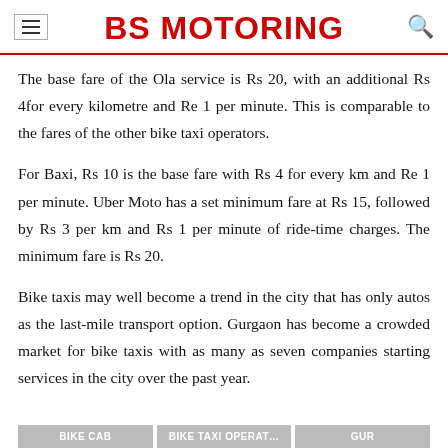BS MOTORING
The base fare of the Ola service is Rs 20, with an additional Rs 4for every kilometre and Re 1 per minute. This is comparable to the fares of the other bike taxi operators.
For Baxi, Rs 10 is the base fare with Rs 4 for every km and Re 1 per minute. Uber Moto has a set minimum fare at Rs 15, followed by Rs 3 per km and Rs 1 per minute of ride-time charges. The minimum fare is Rs 20.
Bike taxis may well become a trend in the city that has only autos as the last-mile transport option. Gurgaon has become a crowded market for bike taxis with as many as seven companies starting services in the city over the past year.